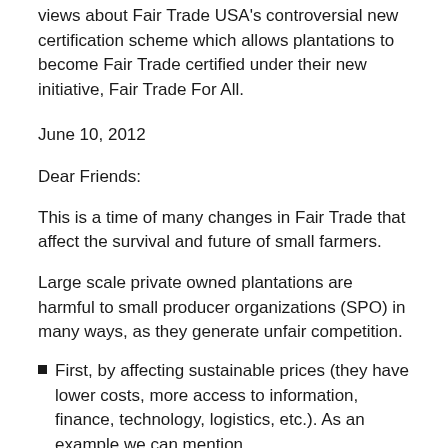views about Fair Trade USA’s controversial new certification scheme which allows plantations to become Fair Trade certified under their new initiative, Fair Trade For All.
June 10, 2012
Dear Friends:
This is a time of many changes in Fair Trade that affect the survival and future of small farmers.
Large scale private owned plantations are harmful to small producer organizations (SPO) in many ways, as they generate unfair competition.
First, by affecting sustainable prices (they have lower costs, more access to information, finance, technology, logistics, etc.). As an example we can mention